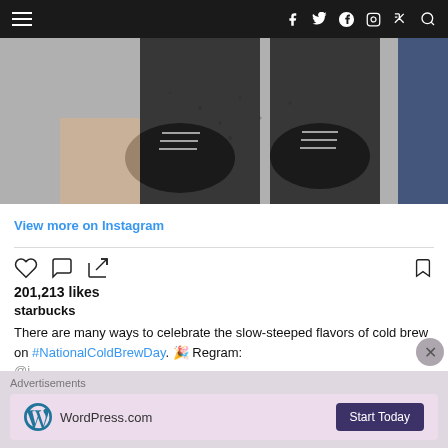Navigation bar with hamburger menu and social icons: f (Facebook), Twitter, Google+, Instagram, Pinterest, Search
[Figure (photo): Black and white overhead photo of person's feet wearing black Vans sneakers standing on a wet gritty surface, with another person in blue jeans visible at the right edge.]
View more on Instagram
201,213 likes
starbucks
There are many ways to celebrate the slow-steeped flavors of cold brew on #NationalColdBrewDay. 🎉 Regram:
Advertisements
[Figure (logo): WordPress.com advertisement banner with WordPress logo and 'Start Today' button]